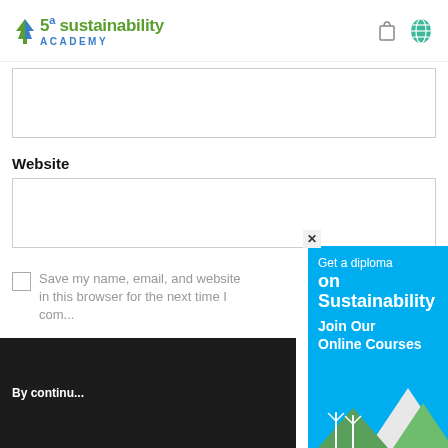Sustainability Academy
(empty input box - upper form field)
Website
(empty input box - website field)
Save my name, email, and website in this browser for the next time I comment.
By continu...
[Figure (screenshot): Popup advertisement: 'Get a diploma on Sustainability — Join Our Online Courses' with wind turbines and mountain illustration on cyan/blue background]